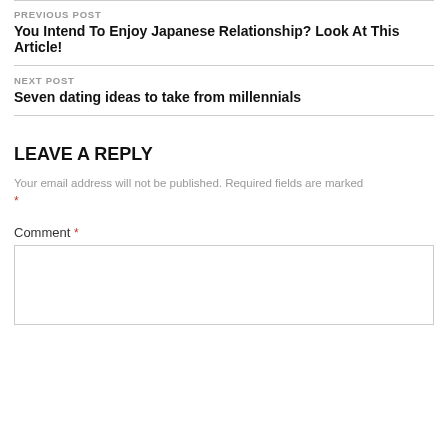PREVIOUS POST
You Intend To Enjoy Japanese Relationship? Look At This Article!
NEXT POST
Seven dating ideas to take from millennials
LEAVE A REPLY
Your email address will not be published. Required fields are marked *
Comment *